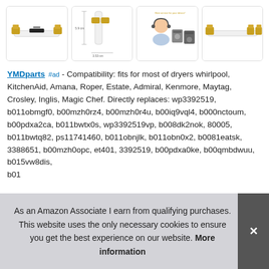[Figure (photo): Four product images in a row: (1) white thermal fuse component with gold terminals on ends, (2) same part shown with dimensions, (3) customer service representative with headset next to washer/dryer appliances, (4) another view of the white thermal fuse part with gold terminals]
YMDparts #ad - Compatibility: fits for most of dryers whirlpool, KitchenAid, Amana, Roper, Estate, Admiral, Kenmore, Maytag, Crosley, Inglis, Magic Chef. Directly replaces: wp3392519, b011obmgf0, b00mzh0rz4, b00mzh0r4u, b00iq9vql4, b000nctoum, b00pdxa2ca, b011bwtx0s, wp3392519vp, b008dk2nok, 80005, b011bwtq82, ps11741460, b011obnjlk, b011obn0x2, b0081eatsk, 3388651, b00mzh0opc, et401, 3392519, b00pdxa0ke, b00qmbdwuu, b015vw8dis, b01...
As an Amazon Associate I earn from qualifying purchases. This website uses the only necessary cookies to ensure you get the best experience on our website. More information